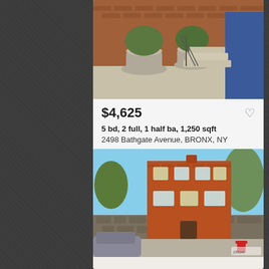[Figure (photo): Exterior photo of brick building with large potted plants and stone steps leading to a blue door]
$4,625
5 bd, 2 full, 1 half ba, 1,250 sqft
2498 Bathgate Avenue, BRONX, NY
Courtesy of EXIT Realty Private Client
[Figure (photo): Exterior photo of a three-story red brick building with trees and a stone retaining wall, car and fire hydrant in foreground]